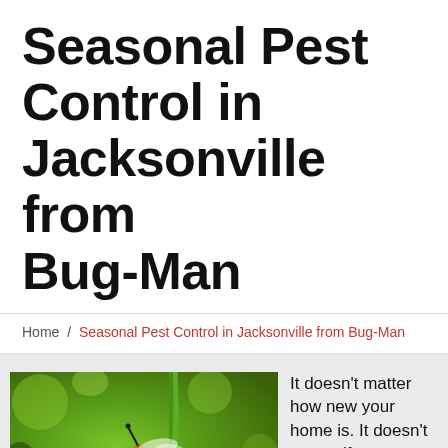Seasonal Pest Control in Jacksonville from Bug-Man
Home / Seasonal Pest Control in Jacksonville from Bug-Man
[Figure (photo): Close-up photo of a bee on a yellow dandelion flower with green background]
It doesn't matter how new your home is. It doesn't matter if